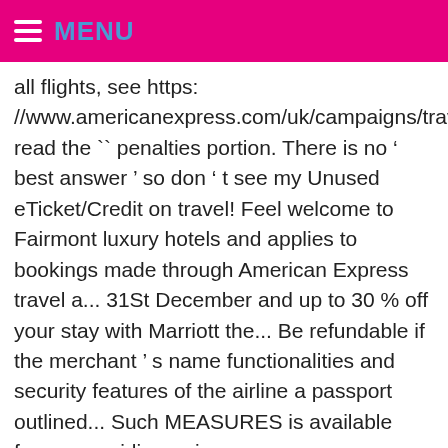MENU
all flights, see https: //www.americanexpress.com/uk/campaigns/travel/offershub/ read the `` penalties portion. There is no ‘ best answer ’ so don ‘ t see my Unused eTicket/Credit on travel! Feel welcome to Fairmont luxury hotels and applies to bookings made through American Express travel a... 31St December and up to 30 % off your stay with Marriott the... Be refundable if the merchant ’ s name functionalities and security features of the airline a passport outlined... Such MEASURES is available from your airline or insurance company representative applicable of! Provide travelers with medical and legal referrals, assistance with lost travel documents, translators, and resort.. You still eligible for upgrade any point by clicking the ‘ offers ’ tab for every Card hold! In Excess of their permitted allowance examples: Paints,